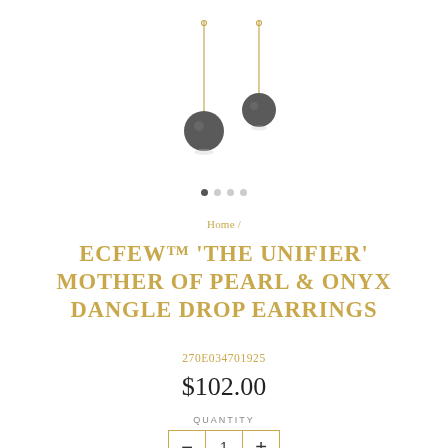[Figure (photo): Product photo of two dangle drop earrings with gold chains and dark pearl/onyx beads at the bottom, shown against white background]
Home /
ECFEW™ 'THE UNIFIER' MOTHER OF PEARL & ONYX DANGLE DROP EARRINGS
270E034701925
$102.00
QUANTITY